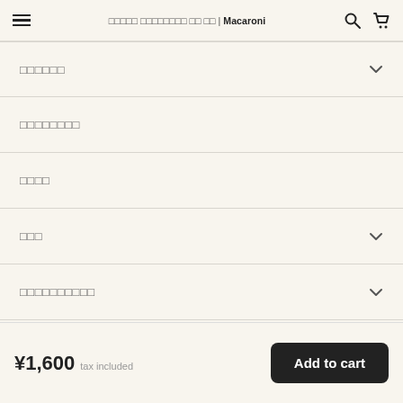□□□□□ □□□□□□□□ □□ □□ | Macaroni
□□□□□□
□□□□□□□□
□□□□
□□□
□□□□□□□□□□
© Macaroni Powered by △BASE
¥1,600 tax included
Add to cart